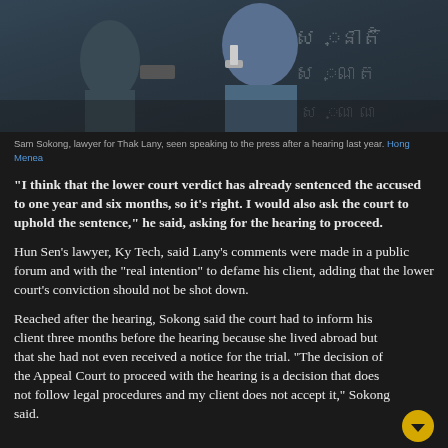[Figure (photo): Sam Sokong, lawyer for Thak Lany, seen speaking to the press after a hearing last year. Photo by Hong Menea.]
Sam Sokong, lawyer for Thak Lany, seen speaking to the press after a hearing last year. Hong Menea
“I think that the lower court verdict has already sentenced the accused to one year and six months, so it’s right. I would also ask the court to uphold the sentence,” he said, asking for the hearing to proceed.
Hun Sen’s lawyer, Ky Tech, said Lany’s comments were made in a public forum and with the “real intention” to defame his client, adding that the lower court’s conviction should not be shot down.
Reached after the hearing, Sokong said the court had to inform his client three months before the hearing because she lived abroad but that she had not even received a notice for the trial. “The decision of the Appeal Court to proceed with the hearing is a decision that does not follow legal procedures and my client does not accept it,” Sokong said.